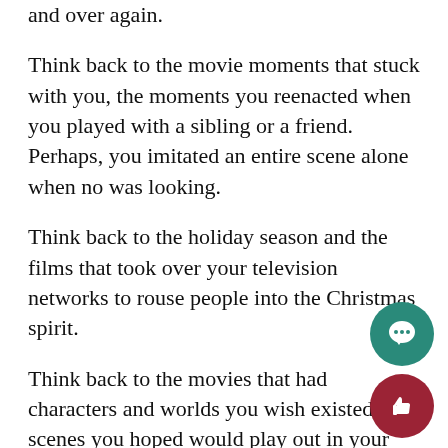and over again.
Think back to the movie moments that stuck with you, the moments you reenacted when you played with a sibling or a friend. Perhaps, you imitated an entire scene alone when no was looking.
Think back to the holiday season and the films that took over your television networks to rouse people into the Christmas spirit.
Think back to the movies that had characters and worlds you wish existed and scenes you hoped would play out in your life.
These films that we watched when we were young took us to other worlds.
December of 2015 featured the release of one of the most highly anticipated films of all time, Star Wars: The Force Awakens. By a long way, one of our f